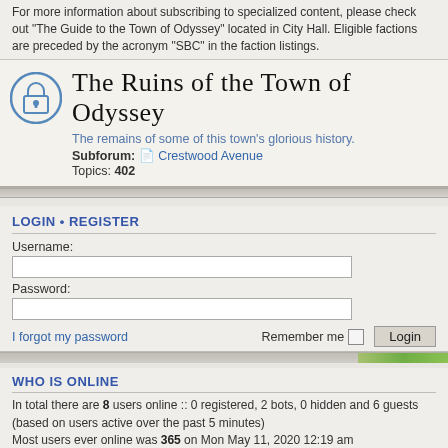For more information about subscribing to specialized content, please check out "The Guide to the Town of Odyssey" located in City Hall. Eligible factions are preceded by the acronym "SBC" in the faction listings.
The Ruins of the Town of Odyssey
The remains of some of this town's glorious history.
Subforum: Crestwood Avenue
Topics: 402
LOGIN • REGISTER
Username:
Password:
I forgot my password
Remember me  Login
WHO IS ONLINE
In total there are 8 users online :: 0 registered, 2 bots, 0 hidden and 6 guests (based on users active over the past 5 minutes)
Most users ever online was 365 on Mon May 11, 2020 12:19 am
WHO WAS HERE
In total there were 48 users online :: 0 registered, 0 hidden and 48 guests (based on users active today)